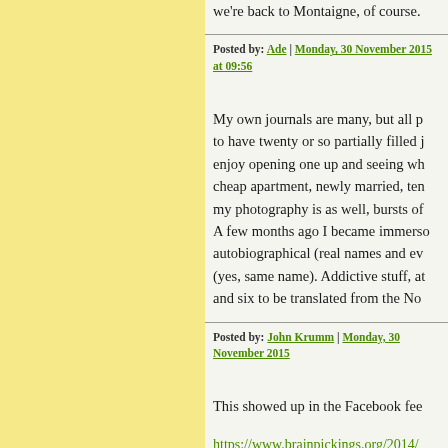we're back to Montaigne, of course.
Posted by: Ade | Monday, 30 November 2015 at 09:56
My own journals are many, but all partially filled journals to have twenty or so partially filled journals enjoy opening one up and seeing wh... cheap apartment, newly married, ten... my photography is as well, bursts of... A few months ago I became immersed... autobiographical (real names and ev... (yes, same name). Addictive stuff, at... and six to be translated from the No...
Posted by: John Krumm | Monday, 30 November 2015
This showed up in the Facebook fee...
https://www.brainpickings.org/2014/... diary/